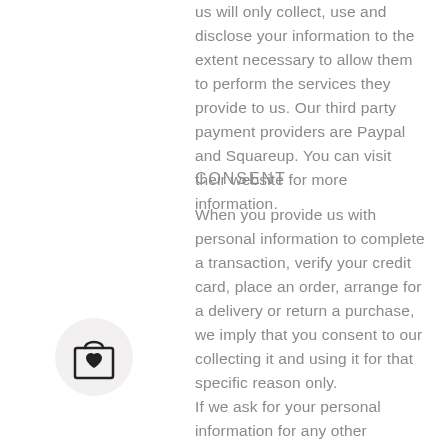us will only collect, use and disclose your information to the extent necessary to allow them to perform the services they provide to us. Our third party payment providers are Paypal and Squareup. You can visit their website for more information.
CONSENT
When you provide us with personal information to complete a transaction, verify your credit card, place an order, arrange for a delivery or return a purchase, we imply that you consent to our collecting it and using it for that specific reason only. If we ask for your personal information for any other reasons, we will ask you, or provide you with an opportunity to say no. If after you opt-in, you change your mind you always have the choice to unsubscribed at any
[Figure (illustration): Shopping bag icon with a heart, inside a light gray circle]